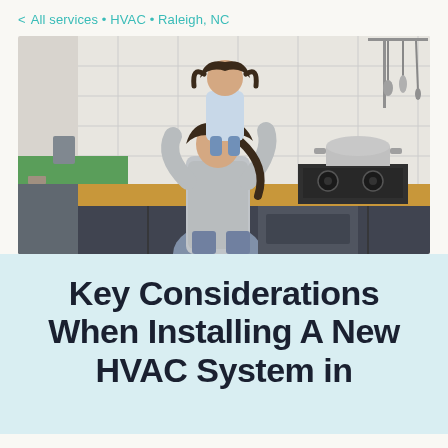< All services • HVAC • Raleigh, NC
[Figure (photo): Woman holding a young child up in a kitchen, smiling. Kitchen has dark cabinets, wooden countertops, a gas stove, and hanging utensils.]
Key Considerations When Installing A New HVAC System in